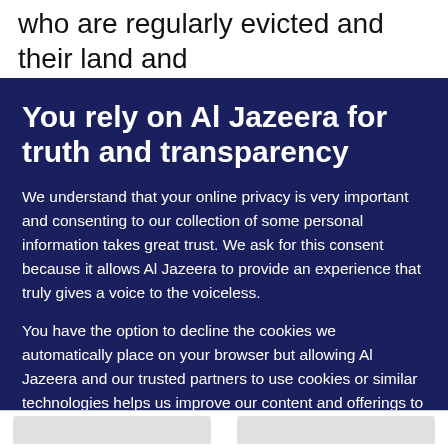who are regularly evicted and their land and
You rely on Al Jazeera for truth and transparency
We understand that your online privacy is very important and consenting to our collection of some personal information takes great trust. We ask for this consent because it allows Al Jazeera to provide an experience that truly gives a voice to the voiceless.
You have the option to decline the cookies we automatically place on your browser but allowing Al Jazeera and our trusted partners to use cookies or similar technologies helps us improve our content and offerings to you. You can change your privacy preferences at any time by selecting 'Cookie preferences' at the bottom of your screen. To learn more, please view our Cookie Policy.